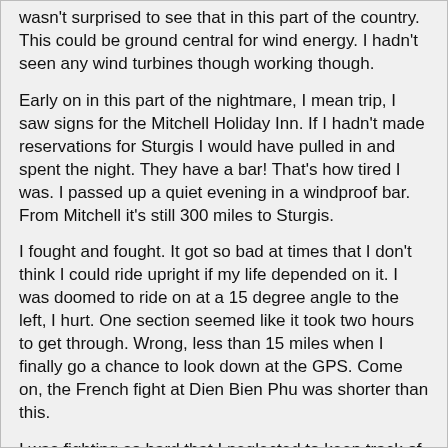wasn't surprised to see that in this part of the country. This could be ground central for wind energy. I hadn't seen any wind turbines though working though.
Early on in this part of the nightmare, I mean trip, I saw signs for the Mitchell Holiday Inn. If I hadn't made reservations for Sturgis I would have pulled in and spent the night. They have a bar! That's how tired I was. I passed up a quiet evening in a windproof bar. From Mitchell it's still 300 miles to Sturgis.
I fought and fought. It got so bad at times that I don't think I could ride upright if my life depended on it. I was doomed to ride on at a 15 degree angle to the left, I hurt. One section seemed like it took two hours to get through. Wrong, less than 15 miles when I finally go a chance to look down at the GPS. Come on, the French fight at Dien Bien Phu was shorter than this.
I was fighting so hard that I neglected to keep track of my fuel. I looked down, ever so briefly, and the low fuel warning light was on! I rode on till Kimball came into view. Thankfully they had a gas station.
At Chamberlain I crossed the Missouri River which had white caps from the wind. The view was spectacular when you climbed back up on the plain.